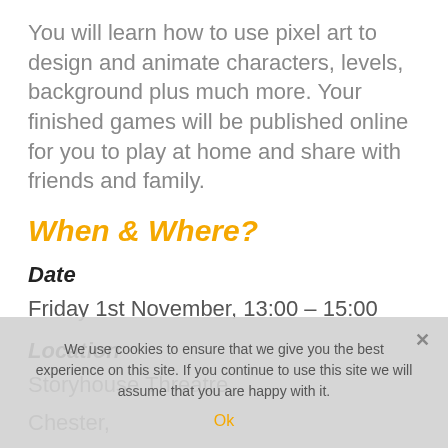You will learn how to use pixel art to design and animate characters, levels, background plus much more. Your finished games will be published online for you to play at home and share with friends and family.
When & Where?
Date
Friday 1st November, 13:00 – 15:00
Location
Storyhouse Threatre,
Chester,
Hunter Street,
We use cookies to ensure that we give you the best experience on this site. If you continue to use this site we will assume that you are happy with it.
Ok